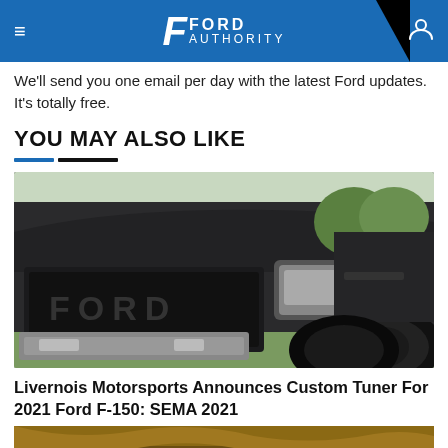Ford Authority
We'll send you one email per day with the latest Ford updates. It's totally free.
YOU MAY ALSO LIKE
[Figure (photo): Front view of a dark/black Ford F-150 Raptor truck parked on grass, showing FORD grille lettering, headlights, front bumper, and large off-road tires]
Livernois Motorsports Announces Custom Tuner For 2021 Ford F-150: SEMA 2021
[Figure (photo): Partial view of another vehicle or scene, brownish/earth tones visible at bottom of page]